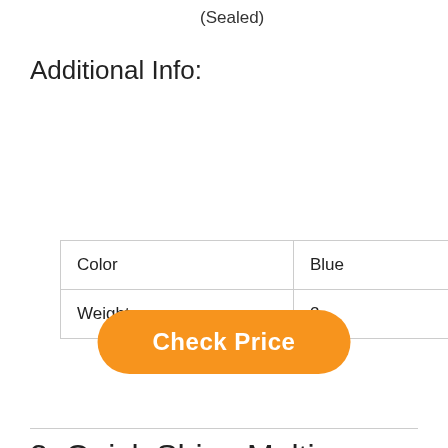(Sealed)
Additional Info:
| Color | Blue |
| Weight | 2 |
[Figure (other): Orange rounded button with white bold text reading 'Check Price']
3. Quick Shine Multi Surface Floor Finish 64oz | Cleaner & Polish to use on Hardwood